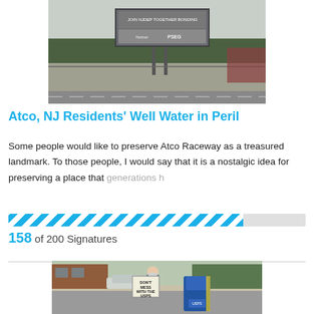[Figure (photo): Outdoor photo of a billboard/signage at what appears to be Atco Raceway, with a chain-link fence and parking lot visible.]
Atco, NJ Residents' Well Water in Peril
Some people would like to preserve Atco Raceway as a treasured landmark. To those people, I would say that it is a nostalgic idea for preserving a place that generations [faded/cut off]
[Figure (infographic): Progress bar showing 158 of 200 signatures with blue diagonal stripe pattern fill at approximately 79% width. Label reads: 158 of 200 Signatures]
[Figure (photo): Person wearing a mask standing on a sidewalk holding a handmade sign reading DON'T MESS WITH THE USPS, next to a blue USPS mailbox.]